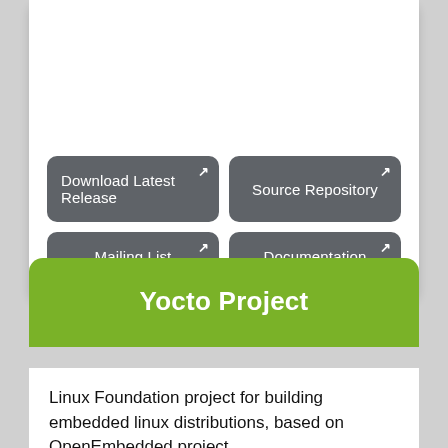Download Latest Release
Source Repository
Mailing List
Documentation
Yocto Project
Linux Foundation project for building embedded linux distributions, based on OpenEmbedded project.